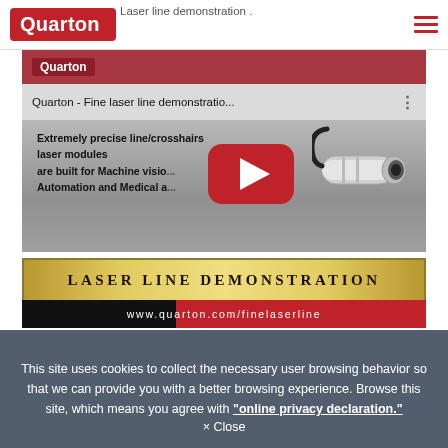Laser line demonstration
[Figure (screenshot): YouTube video thumbnail for 'Quarton - Fine laser line demonstratio...' showing a laser module device and text about precise line/crosshairs laser modules for Machine Vision, Automation and Medical applications. Red Quarton logo in top bar. Red YouTube play button in center.]
[Figure (other): Gold banner with text 'LASER LINE DEMONSTRATION']
[Figure (other): Black and red bar with URL www.quarton.com/finelaserline]
This site uses cookies to collect the necessary user browsing behavior so that we can provide you with a better browsing experience. Browse this site, which means you agree with "online privacy declaration."
× Close